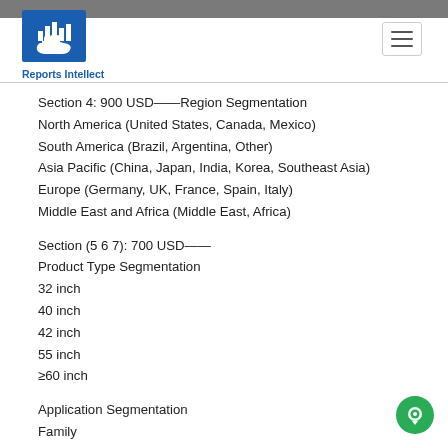Reports Intellect
Section 4: 900 USD——Region Segmentation
North America (United States, Canada, Mexico)
South America (Brazil, Argentina, Other)
Asia Pacific (China, Japan, India, Korea, Southeast Asia)
Europe (Germany, UK, France, Spain, Italy)
Middle East and Africa (Middle East, Africa)
Section (5 6 7): 700 USD——
Product Type Segmentation
32 inch
40 inch
42 inch
55 inch
≥60 inch
Application Segmentation
Family